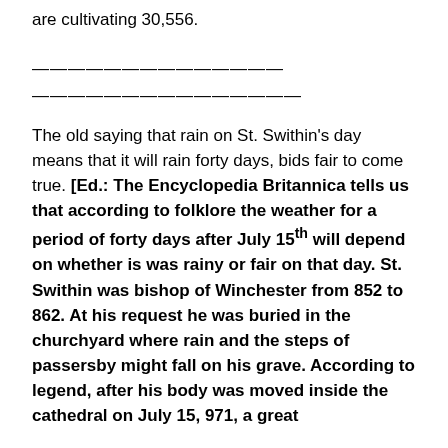are cultivating 30,556.
——————————————
———————————————
The old saying that rain on St. Swithin's day means that it will rain forty days, bids fair to come true. [Ed.: The Encyclopedia Britannica tells us that according to folklore the weather for a period of forty days after July 15th will depend on whether is was rainy or fair on that day. St. Swithin was bishop of Winchester from 852 to 862. At his request he was buried in the churchyard where rain and the steps of passersby might fall on his grave. According to legend, after his body was moved inside the cathedral on July 15, 971, a great